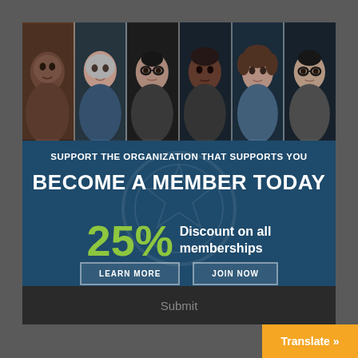[Figure (photo): Six diverse people's faces in a horizontal strip against a dark teal background with 'JOIN' text watermark behind them]
SUPPORT THE ORGANIZATION THAT SUPPORTS YOU
BECOME A MEMBER TODAY
25% Discount on all memberships
LEARN MORE
JOIN NOW
Submit
Translate »